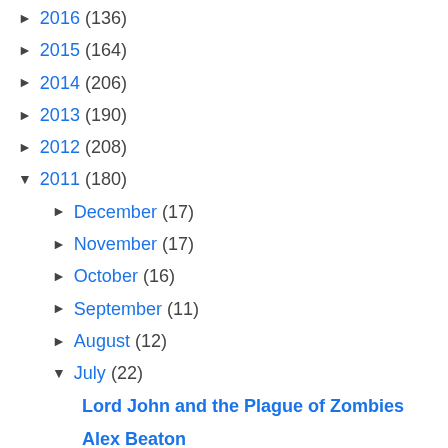► 2016 (136)
► 2015 (164)
► 2014 (206)
► 2013 (190)
► 2012 (208)
▼ 2011 (180)
► December (17)
► November (17)
► October (16)
► September (11)
► August (12)
▼ July (22)
Lord John and the Plague of Zombies
Alex Beaton
SCOTTISH PRISONER description
A very special gift for Diana